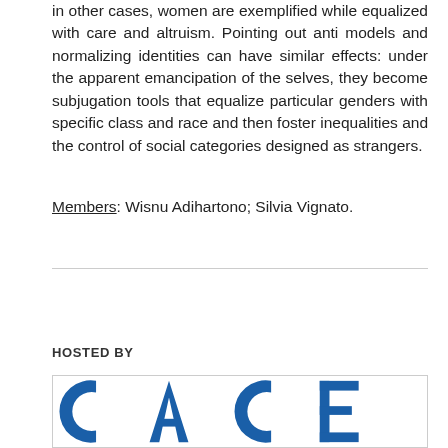in other cases, women are exemplified while equalized with care and altruism. Pointing out anti models and normalizing identities can have similar effects: under the apparent emancipation of the selves, they become subjugation tools that equalize particular genders with specific class and race and then foster inequalities and the control of social categories designed as strangers.
Members: Wisnu Adihartono; Silvia Vignato.
HOSTED BY
[Figure (logo): CASE logo — large blue letters 'CA CE' on white background inside a bordered box]